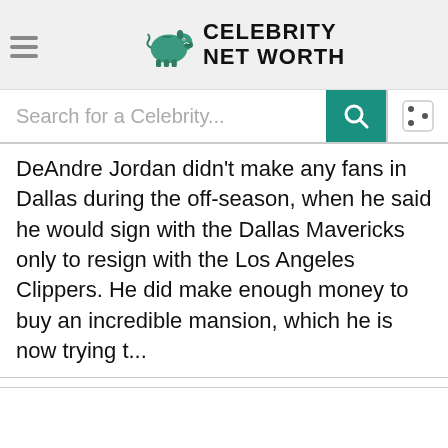Celebrity Net Worth
DeAndre Jordan didn't make any fans in Dallas during the off-season, when he said he would sign with the Dallas Mavericks only to resign with the Los Angeles Clippers. He did make enough money to buy an incredible mansion, which he is now trying t...